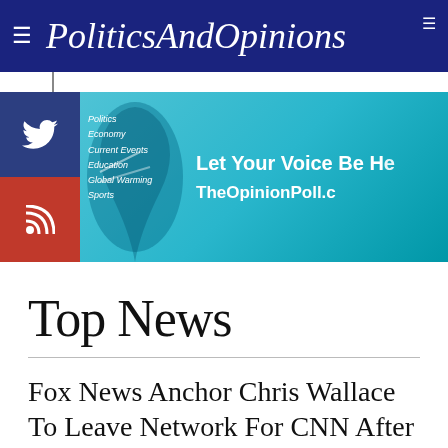PoliticsAndOpinions
[Figure (infographic): Advertisement banner for TheOpinionPoll.com with social media icons (Twitter, RSS), decorative figure silhouette, topic list (Politics, Economy, Current Events, Education, Global Warming, Sports), headline 'Let Your Voice Be Heard' and URL 'TheOpinionPoll.com']
Top News
Fox News Anchor Chris Wallace To Leave Network For CNN After 18 Years
12 December 2021